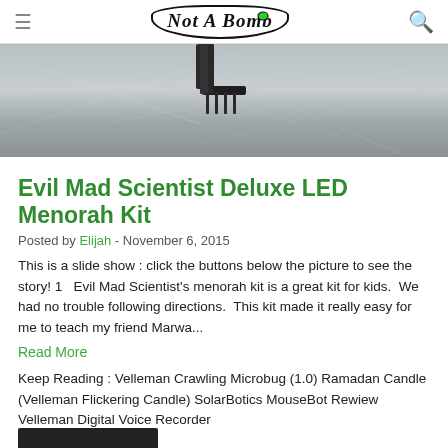Not A Bomb (logo)
[Figure (photo): Close-up photo of a metal workbench surface with a dark component on it, scratched metallic background]
Evil Mad Scientist Deluxe LED Menorah Kit
Posted by Elijah - November 6, 2015
This is a slide show : click the buttons below the picture to see the story! 1   Evil Mad Scientist's menorah kit is a great kit for kids.  We had no trouble following directions.  This kit made it really easy for me to teach my friend Marwa...
Read More
Keep Reading : Velleman Crawling Microbug (1.0) Ramadan Candle (Velleman Flickering Candle) SolarBotics MouseBot Rewiew Velleman Digital Voice Recorder